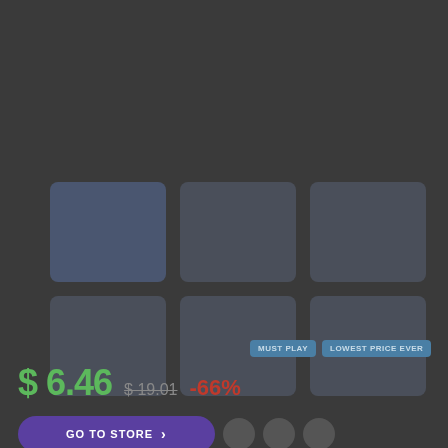[Figure (screenshot): A 3x2 grid of game screenshot thumbnails with rounded corners on a dark background. The top-left cell has a blue-tinted color, others are dark gray.]
MUST PLAY
LOWEST PRICE EVER
$ 6.46  $19.01  -66%
GO TO STORE